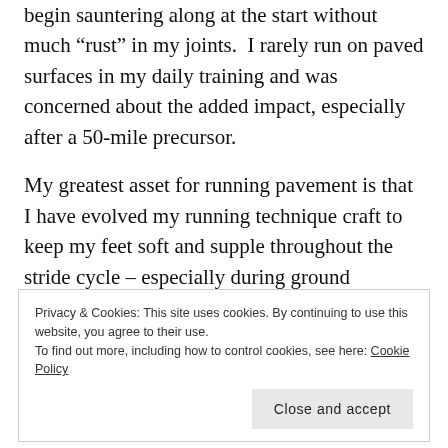I was relieved and slightly surprised at my ability to begin sauntering along at the start without much “rust” in my joints.  I rarely run on paved surfaces in my daily training and was concerned about the added impact, especially after a 50-mile precursor.
My greatest asset for running pavement is that I have evolved my running technique craft to keep my feet soft and supple throughout the stride cycle – especially during ground contact.  This minimizes impact, in spite of the firm and minimal Merrell Trail Glove shoes I
Privacy & Cookies: This site uses cookies. By continuing to use this website, you agree to their use.
To find out more, including how to control cookies, see here: Cookie Policy

Close and accept